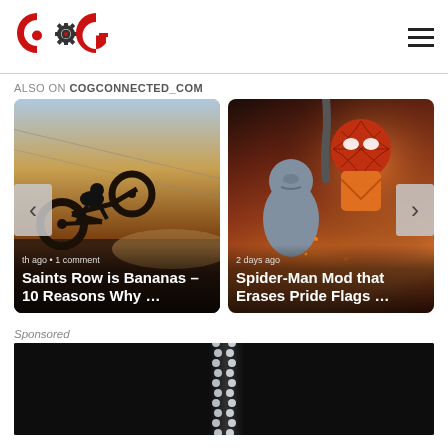[Figure (logo): CogConnected logo — red C, gear, red G monogram]
ALSO ON COGCONNECTED_COM
[Figure (screenshot): Carousel of two article cards. Card 1: motorcycle stunt image with text '[month] ago • 1 comment / Saints Row is Bananas – 10 Reasons Why …'. Card 2: Spider-Man and bald character image with text '2 days ago / Spider-Man Mod that Erases Pride Flags …'. Left and right navigation arrows visible.]
Sponsored
[Figure (photo): Dark background with metal ball chain necklace on black]